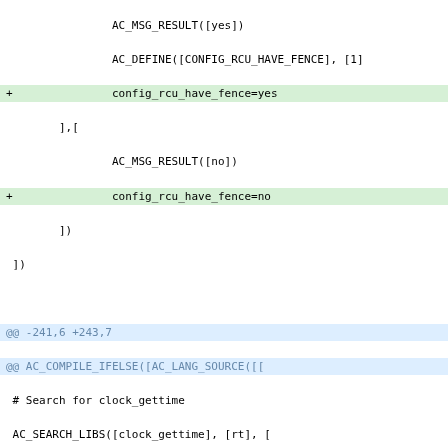Code diff showing configure.ac changes with additions (green), deletions (red), and hunk headers (blue) for RCU fence, clock_gettime, and SMP support configuration.